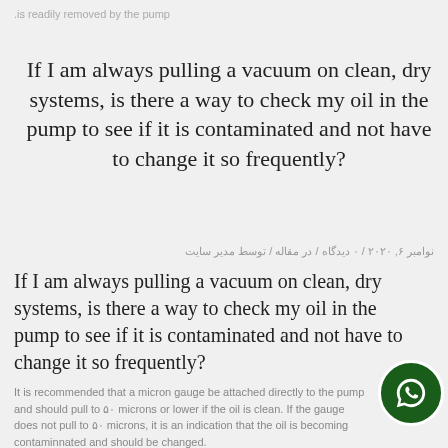.is readily removed by the pump
If I am always pulling a vacuum on clean, dry systems, is there a way to check my oil in the pump to see if it is contaminated and not have to change it so frequently?
نوامبر ۶, ۲۰۲۰ / ۰ دیدگاه / در مقاله / توسط مدیر سایت
If I am always pulling a vacuum on clean, dry systems, is there a way to check my oil in the pump to see if it is contaminated and not have to change it so frequently?
It is recommended that a micron gauge be attached directly to the pump and should pull to ۵۰ microns or lower if the oil is clean. If the gauge does not pull to ۵۰ microns, it is an indication that the oil is becoming contaminnated and should be changed.